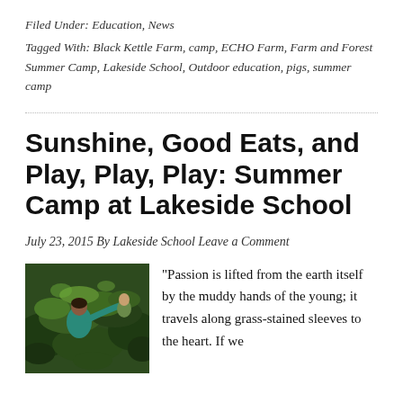Filed Under: Education, News
Tagged With: Black Kettle Farm, camp, ECHO Farm, Farm and Forest Summer Camp, Lakeside School, Outdoor education, pigs, summer camp
Sunshine, Good Eats, and Play, Play, Play: Summer Camp at Lakeside School
July 23, 2015 By Lakeside School Leave a Comment
[Figure (photo): Children playing outdoors in a garden or field, one child wearing a teal shirt reaching into green plants]
"Passion is lifted from the earth itself by the muddy hands of the young; it travels along grass-stained sleeves to the heart. If we